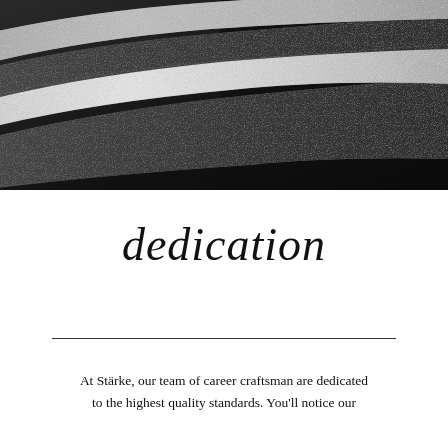[Figure (photo): Black and white close-up photograph of layered fabric or textile material with curved striped bands, set against a dark background.]
dedication
At Stärke, our team of career craftsman are dedicated to the highest quality standards. You'll notice our